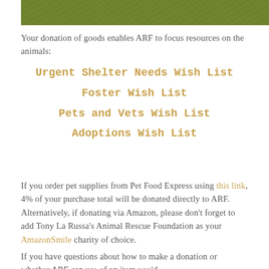[Figure (photo): Partial photo of grass/greenery background at the top of the page]
Your donation of goods enables ARF to focus resources on the animals:
Urgent Shelter Needs Wish List
Foster Wish List
Pets and Vets Wish List
Adoptions Wish List
If you order pet supplies from Pet Food Express using this link, 4% of your purchase total will be donated directly to ARF. Alternatively, if donating via Amazon, please don't forget to add Tony La Russa's Animal Rescue Foundation as your AmazonSmile charity of choice.
If you have questions about how to make a donation or whether ARF can use of an item you'd